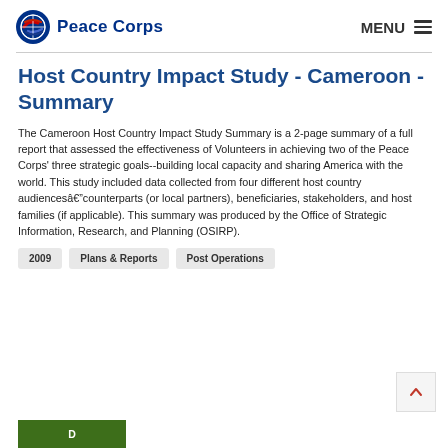Peace Corps | MENU
Host Country Impact Study - Cameroon - Summary
The Cameroon Host Country Impact Study Summary is a 2-page summary of a full report that assessed the effectiveness of Volunteers in achieving two of the Peace Corps' three strategic goals--building local capacity and sharing America with the world. This study included data collected from four different host country audiencesâcounterparts (or local partners), beneficiaries, stakeholders, and host families (if applicable). This summary was produced by the Office of Strategic Information, Research, and Planning (OSIRP).
2009
Plans & Reports
Post Operations